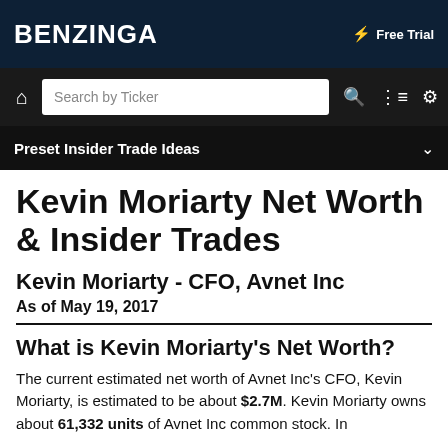BENZINGA | Free Trial
Search by Ticker
Preset Insider Trade Ideas
Kevin Moriarty Net Worth & Insider Trades
Kevin Moriarty - CFO, Avnet Inc
As of May 19, 2017
What is Kevin Moriarty's Net Worth?
The current estimated net worth of Avnet Inc's CFO, Kevin Moriarty, is estimated to be about $2.7M. Kevin Moriarty owns about 61,332 units of Avnet Inc common stock. In